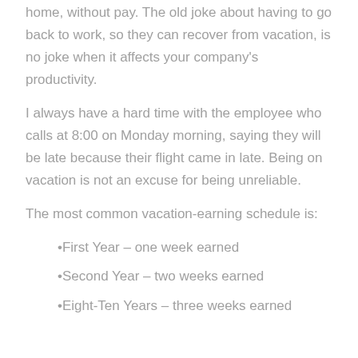home, without pay. The old joke about having to go back to work, so they can recover from vacation, is no joke when it affects your company’s productivity.
I always have a hard time with the employee who calls at 8:00 on Monday morning, saying they will be late because their flight came in late. Being on vacation is not an excuse for being unreliable.
The most common vacation-earning schedule is:
•First Year – one week earned
•Second Year – two weeks earned
•Eight-Ten Years – three weeks earned